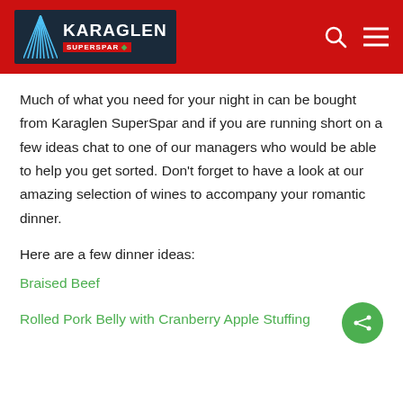KARAGLEN SUPERSPAR
Much of what you need for your night in can be bought from Karaglen SuperSpar and if you are running short on a few ideas chat to one of our managers who would be able to help you get sorted. Don't forget to have a look at our amazing selection of wines to accompany your romantic dinner.
Here are a few dinner ideas:
Braised Beef
Rolled Pork Belly with Cranberry Apple Stuffing